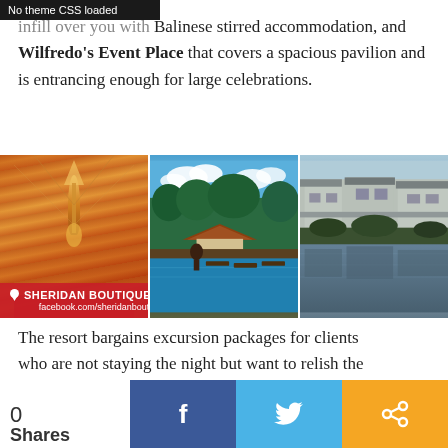No theme CSS loaded
infill over you with Balinese stirred accommodation, and Wilfredo's Event Place that covers a spacious pavilion and is entrancing enough for large celebrations.
[Figure (photo): Three-panel photo strip of Sheridan Boutique Resort: left panel shows warm orange draped ceiling interior, center panel shows a pool with a Balinese-style hut and lush trees, right panel shows resort villas reflected in calm water. Red overlay label reads: SHERIDAN BOUTIQUE RESORT, facebook.com/sheridanboutiqueresort]
The resort bargains excursion packages for clients who are not staying the night but want to relish the infinity pool. Furthermore, their restaurant is happy to serve to all guests.
0 Shares  [Facebook share]  [Twitter share]  [Share]